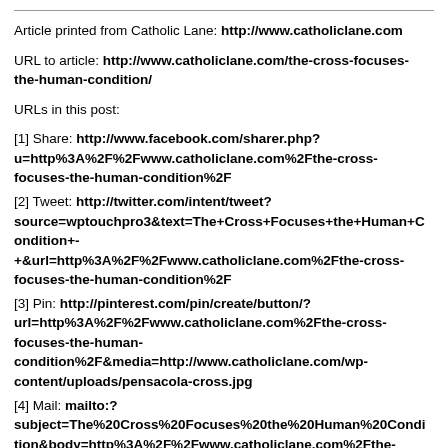Article printed from Catholic Lane: http://www.catholiclane.com
URL to article: http://www.catholiclane.com/the-cross-focuses-the-human-condition/
URLs in this post:
[1] Share: http://www.facebook.com/sharer.php?u=http%3A%2F%2Fwww.catholiclane.com%2Fthe-cross-focuses-the-human-condition%2F
[2] Tweet: http://twitter.com/intent/tweet?source=wptouchpro3&text=The+Cross+Focuses+the+Human+Condition+-+&url=http%3A%2F%2Fwww.catholiclane.com%2Fthe-cross-focuses-the-human-condition%2F
[3] Pin: http://pinterest.com/pin/create/button/?url=http%3A%2F%2Fwww.catholiclane.com%2Fthe-cross-focuses-the-human-condition%2F&media=http://www.catholiclane.com/wp-content/uploads/pensacola-cross.jpg
[4] Mail: mailto:?subject=The%20Cross%20Focuses%20the%20Human%20Condition&body=http%3A%2F%2Fwww.catholiclane.com%2Fthe-cross-focuses-the-human-condition%2F
[5] SMS: http://www.catholiclane.comsms:&body=The Cross Focuses the Human Condition: